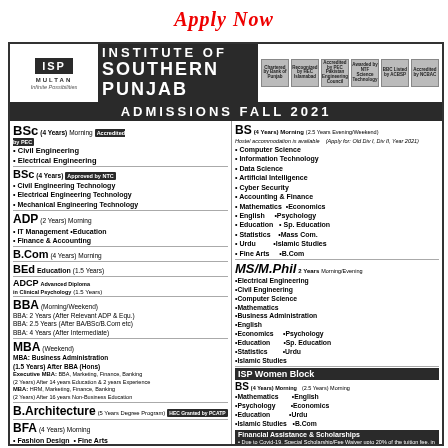Apply Now
[Figure (infographic): Institute of Southern Punjab admissions advertisement for Fall 2021, showing programs, campus photos, and contact information]
ADMISSIONS FALL 2021
BSc (4 Years) Morning Accredited by PEC • Civil Engineering • Electrical Engineering
BSc (4 Years) Approved by NTC • Civil Engineering Technology • Electrical Engineering Technology • Mechanical Engineering Technology
ADP (2 Years) Morning • IT Management • Education • Finance & Accounting
B.Com (4 Years) Morning
BEd Education (1.5 Years)
ADCP Advanced Diploma in Clinical Psychology (1.5 Years)
BBA (Morning/Weekend) BBA: 2 Years (After Relevant ADP & Equ.) BBA: 2.5 Years (After BA/BSc/B.Com etc) BBA: 4 Years (After Intermediate)
MBA (Weekend) MBA: Business Administration (1.5 Years) After BBA (Hons) Executive MBA: BBA, Marketing, Finance, Banking (2 Years) After 14 years Education & 2 years Experience MBA: HRM, Marketing, Finance, Banking (2 Years) After 16 years Non-Business Education
B.Architecture (5 Years Degree Program) HEC Granted by PCATP
BFA (4 Years) Morning • Fashion Design • Fine Arts
BS (4 Years) Morning (2.5 Years Evening/Weekend) • Computer Science • Information Technology • Data Science • Artificial Intelligence • Cyber Security • Accounting & Finance • Mathematics • Economics • English • Psychology • Education • Sp. Education • Statistics • Mass Com. • Urdu • Islamic Studies • Fine Arts • B.Com
MS/M.Phil 2 Years Morning/Evening • Electrical Engineering • Civil Engineering • Computer Science • Mathematics • Business Administration • English • Economics • Psychology • Education • Sp. Education • Statistics • Urdu • Islamic Studies
ISP Women Block
BS (4 Years) Morning (2.5 Years Morning) • Mathematics • English • Psychology • Economics • Education • Urdu • Islamic Studies • B.Com
Financial Assistance & Scholarships
• Due to Covid-19, Special Scholarship/Fee Waiver upto 20% of the tuition fee, in almost all programs have been offered (T&C apply). • Only Rs. 5800 per month laptop fee, to all programs at ISP Women Block. • Merit Based, limited seats available in all programs. • Free Transport facility available for any where in Multan. • Multan's Largest Girls' Hostel facility available.
Admissions shall be confirmed as per 'ISP Merit Based Admission Policy'
Last Date for Submission of Application forms: 30 August, 2021
How to Apply
Students awaiting results may also apply
Visit Centralized Admission Office Main Campus
Apply online by visiting our website: www.isp.edu.pk
CENTRALIZED ADMISSION OFFICE
Main Campus: 9 KM, Bosan Road, Multan, Pakistan
Ph: +92-061-4746001, 4746002, 4746003, 4746004, 4746005